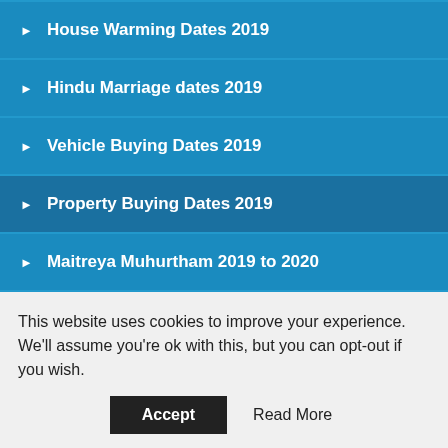House Warming Dates 2019
Hindu Marriage dates 2019
Vehicle Buying Dates 2019
Property Buying Dates 2019
Maitreya Muhurtham 2019 to 2020
ABOUT US
Link Exchange
Useful Links
Disclaimer
This website uses cookies to improve your experience. We'll assume you're ok with this, but you can opt-out if you wish.